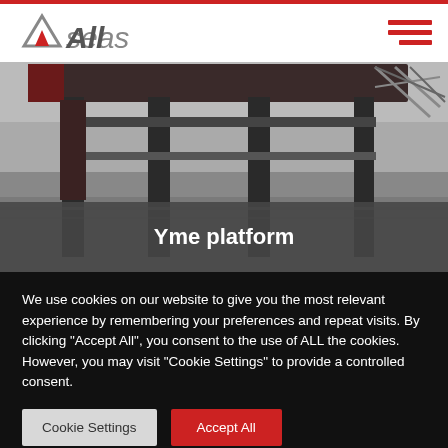Allseas
[Figure (photo): Offshore platform structure photographed from below/side showing steel legs and truss structure over water, black and white photo. Caption overlay reads 'Yme platform'.]
Yme platform
We use cookies on our website to give you the most relevant experience by remembering your preferences and repeat visits. By clicking "Accept All", you consent to the use of ALL the cookies. However, you may visit "Cookie Settings" to provide a controlled consent.